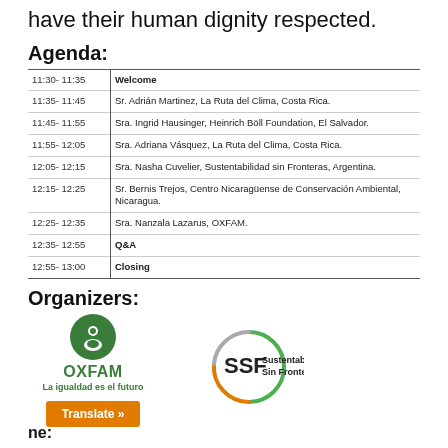have their human dignity respected.
Agenda:
| Time | Description |
| --- | --- |
| 11:30- 11:35 | Welcome |
| 11:35- 11:45 | Sr. Adrián Martinez, La Ruta del Clima, Costa Rica. |
| 11:45- 11:55 | Sra. Ingrid Hausinger, Heinrich Böll Foundation, El Salvador. |
| 11:55- 12:05 | Sra. Adriana Vásquez, La Ruta del Clima, Costa Rica. |
| 12:05- 12:15 | Sra. Nasha Cuvelier, Sustentabilidad sin Fronteras, Argentina. |
| 12:15- 12:25 | Sr. Bernis Trejos, Centro Nicaragüense de Conservación Ambiental, Nicaragua. |
| 12:25- 12:35 | Sra. Nanzala Lazarus, OXFAM. |
| 12:35- 12:55 | Q&A |
| 12:55- 13:00 | Closing |
Organizers:
[Figure (logo): OXFAM logo - green circle with person icon, green OXFAM text, slogan La igualdad es el futuro]
[Figure (logo): SSF Sustentabilidad Sin Fronteras logo - circular arc in green and orange]
La igualdad es el futuro
Translate »
ne: